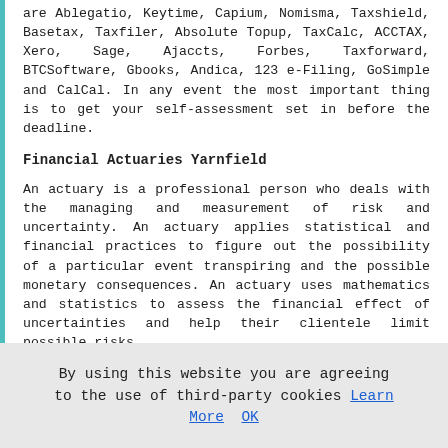are Ablegatio, Keytime, Capium, Nomisma, Taxshield, Basetax, Taxfiler, Absolute Topup, TaxCalc, ACCTAX, Xero, Sage, Ajaccts, Forbes, Taxforward, BTCSoftware, Gbooks, Andica, 123 e-Filing, GoSimple and CalCal. In any event the most important thing is to get your self-assessment set in before the deadline.
Financial Actuaries Yarnfield
An actuary is a professional person who deals with the managing and measurement of risk and uncertainty. An actuary applies statistical and financial practices to figure out the possibility of a particular event transpiring and the possible monetary consequences. An actuary uses mathematics and statistics to assess the financial effect of uncertainties and help their clientele limit possible risks.
Small Business Accountants Yarnfield
[Figure (photo): Photo of glasses and a mug on a desk with a person in dark clothing in the background]
Doing the yearly accounts
By using this website you are agreeing to the use of third-party cookies Learn More OK